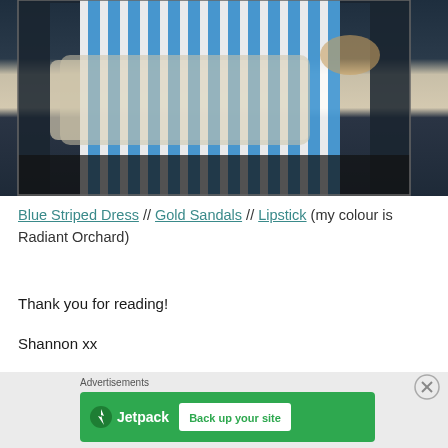[Figure (photo): A person wearing a blue and white striped dress with gold sandals, seated on dark wicker outdoor furniture with beige cushions. Only the lower body is visible.]
Blue Striped Dress // Gold Sandals // Lipstick (my colour is Radiant Orchard)
Thank you for reading!
Shannon xx
[Figure (screenshot): Advertisement banner showing Jetpack logo and 'Back up your site' button on green background, with 'Advertisements' label above and close button (X) at top right.]